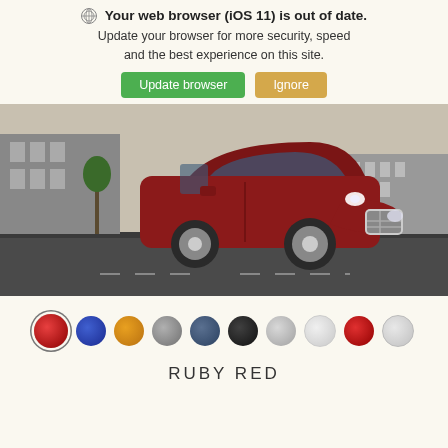🌐 Your web browser (iOS 11) is out of date. Update your browser for more security, speed and the best experience on this site.
[Figure (screenshot): Two buttons: green 'Update browser' and tan 'Ignore']
[Figure (photo): Red Ford EcoSport SUV driving on a road with urban buildings in the background]
[Figure (infographic): Row of 10 color swatches: ruby red (selected), blue, orange, gray, dark slate blue, near-black, light gray, white, red, light gray/white]
RUBY RED